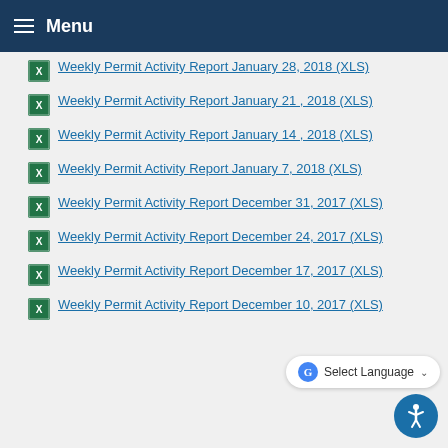Menu
Weekly Permit Activity Report January 28, 2018 (XLS)
Weekly Permit Activity Report January 21 , 2018 (XLS)
Weekly Permit Activity Report January 14 , 2018 (XLS)
Weekly Permit Activity Report January 7, 2018 (XLS)
Weekly Permit Activity Report December 31, 2017 (XLS)
Weekly Permit Activity Report December 24, 2017 (XLS)
Weekly Permit Activity Report December 17, 2017 (XLS)
Weekly Permit Activity Report December 10, 2017 (XLS)